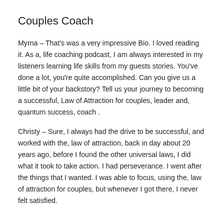Couples Coach
Myrna – That's was a very impressive Bio. I loved reading it. As a, life coaching podcast, I am always interested in my listeners learning life skills from my guests stories. You've done a lot, you're quite accomplished. Can you give us a little bit of your backstory? Tell us your journey to becoming a successful, Law of Attraction for couples, leader and, quantum success, coach .
Christy – Sure, I always had the drive to be successful, and worked with the, law of attraction, back in day about 20 years ago, before I found the other universal laws, I did what it took to take action. I had perseverance. I went after the things that I wanted. I was able to focus, using the, law of attraction for couples, but whenever I got there, I never felt satisfied.